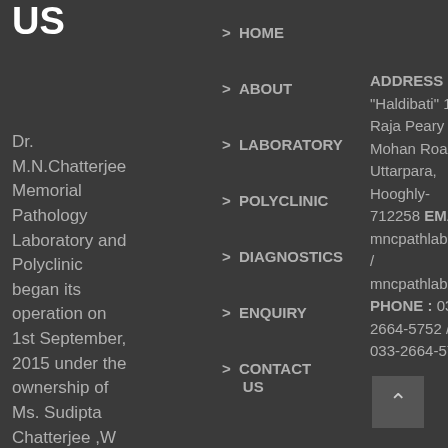US
Dr. M.N.Chatterjee Memorial Pathology Laboratory and Polyclinic began its operation on 1st September, 2015 under the ownership of Ms. Sudipta Chatterjee ,W /O Dr. Santi Kumar
> HOME
> ABOUT
> LABORATORY
> POLYCLINIC
> DIAGNOSTICS
> ENQUIRY
> CONTACT US
ADDRESS : "Haldibati" 145, Raja Peary Mohan Road, Uttarpara, Hooghly- 712258 EMAIL : mncpathlab@gmail.c / mncpathlab@yahoo. PHONE : 033-2664-5752 / 033-2664-5752